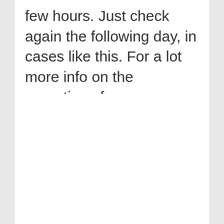few hours. Just check again the following day, in cases like this. For a lot more info on the operation of contemporary parcel tracking, check out the paragraph under.
[Figure (other): White rectangular box, empty content area below the text block]